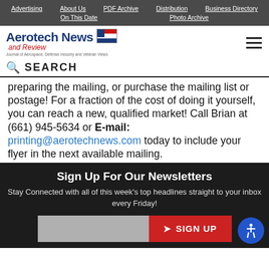Advertising | About Us | PDF Archive | Distribution | Business Directory | On This Date | Photo Archive
[Figure (logo): Aerotech News and Review logo with American flag graphic]
SEARCH
preparing the mailing, or purchase the mailing list or postage! For a fraction of the cost of doing it yourself, you can reach a new, qualified market! Call Brian at (661) 945-5634 or E-mail: printing@aerotechnews.com today to include your flyer in the next available mailing.
Sign Up For Our Newsletters
Stay Connected with all of this week's top headlines straight to your inbox every Friday!